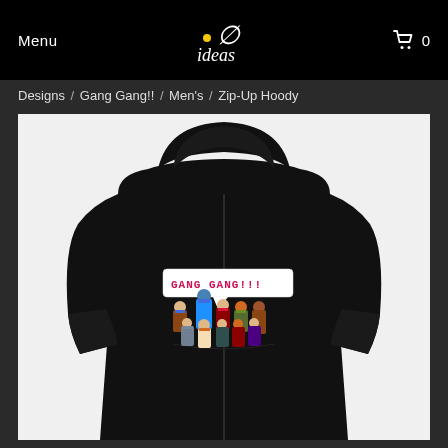Menu  ideas  0
Designs / Gang Gang!! / Men's / Zip-Up Hoody
[Figure (photo): Back view of a black zip-up hoodie on a model, featuring a pixel-art graphic on the back showing cartoon characters with text 'GANG GANG!!!' on a white banner]